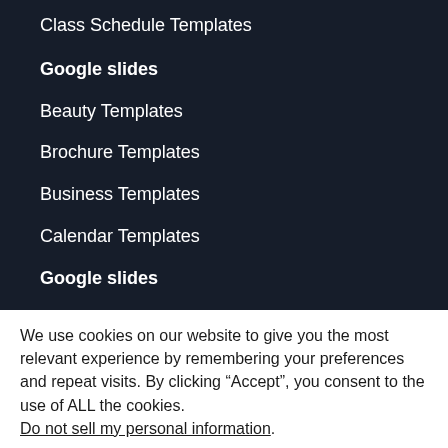Class Schedule Templates
Google slides
Beauty Templates
Brochure Templates
Business Templates
Calendar Templates
Google slides
We use cookies on our website to give you the most relevant experience by remembering your preferences and repeat visits. By clicking “Accept”, you consent to the use of ALL the cookies.
Do not sell my personal information.
Cookie Settings   Accept